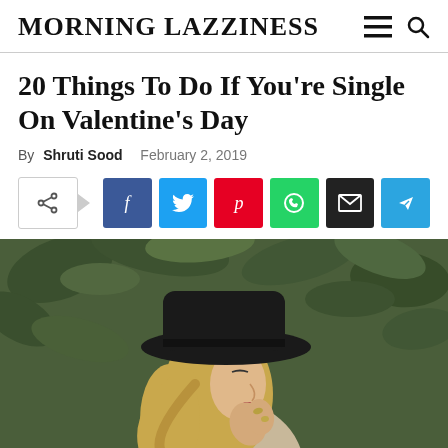MORNING LAZZINESS
20 Things To Do If You're Single On Valentine's Day
By Shruti Sood   February 2, 2019
[Figure (infographic): Social share buttons: share icon with arrow, Facebook, Twitter, Pinterest, WhatsApp, Email, Telegram]
[Figure (photo): A young blonde woman wearing a wide-brimmed black hat, eyes closed, hands raised near her face, against a green leafy background]